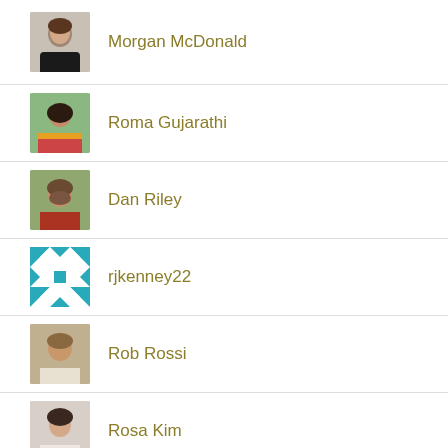Morgan McDonald
Roma Gujarathi
Dan Riley
rjkenney22
Rob Rossi
Rosa Kim